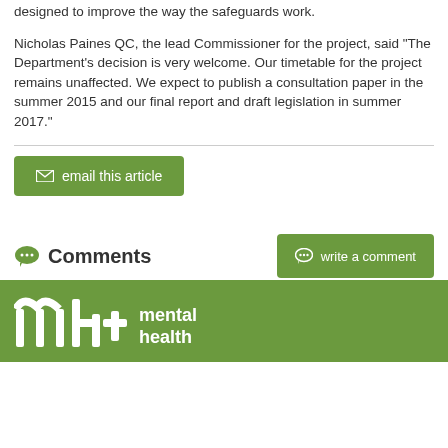designed to improve the way the safeguards work.
Nicholas Paines QC, the lead Commissioner for the project, said "The Department's decision is very welcome. Our timetable for the project remains unaffected. We expect to publish a consultation paper in the summer 2015 and our final report and draft legislation in summer 2017."
[Figure (other): Green button labeled 'email this article' with envelope icon]
Comments
[Figure (other): Green button labeled 'write a comment' with speech bubble icon]
SAVE & READ LATER
[Figure (logo): Mental Health Today logo - white mht letters and cross symbol on green background with 'mental health' text]